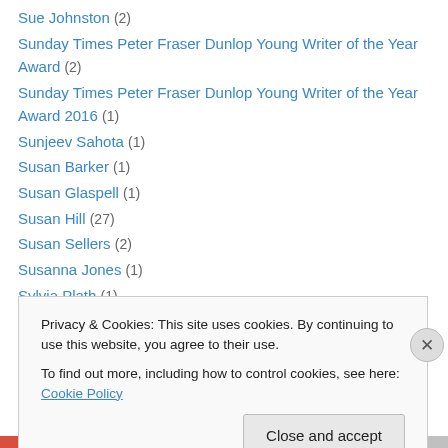Sue Johnston (2)
Sunday Times Peter Fraser Dunlop Young Writer of the Year Award (2)
Sunday Times Peter Fraser Dunlop Young Writer of the Year Award 2016 (1)
Sunjeev Sahota (1)
Susan Barker (1)
Susan Glaspell (1)
Susan Hill (27)
Susan Sellers (2)
Susanna Jones (1)
Sylvia Plath (1)
Taichi Yamada (1)
Taiye Selasi (1)
Privacy & Cookies: This site uses cookies. By continuing to use this website, you agree to their use. To find out more, including how to control cookies, see here: Cookie Policy
Close and accept